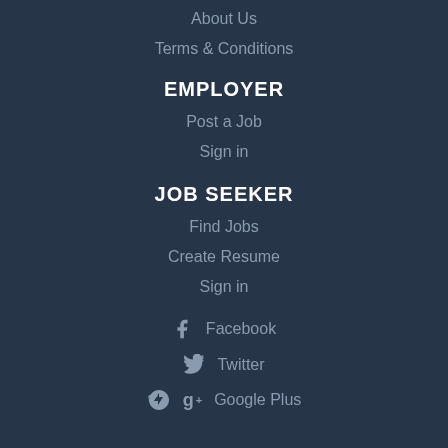About Us
Terms & Conditions
EMPLOYER
Post a Job
Sign in
JOB SEEKER
Find Jobs
Create Resume
Sign in
Facebook
Twitter
Google Plus